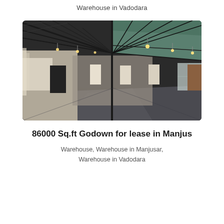Warehouse in Vadodara
[Figure (photo): Interior of a large industrial warehouse with steel truss roof, hanging lights, concrete floor, and multiple doorways along the side walls.]
86000 Sq.ft Godown for lease in Manjus
Warehouse, Warehouse in Manjusar, Warehouse in Vadodara